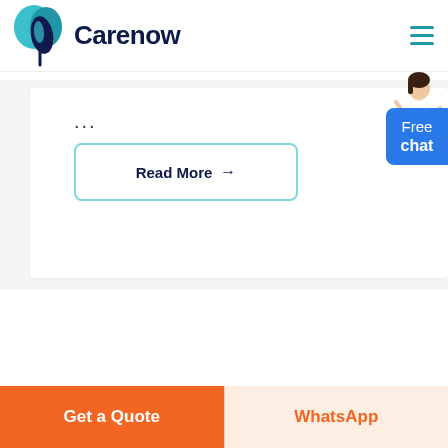Carenow
...
Read More →
[Figure (illustration): Female agent/consultant figure pointing, used as a chat widget mascot]
Free chat
Get a Quote
WhatsApp